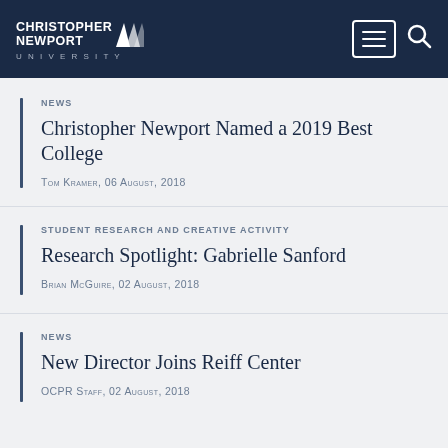Christopher Newport University
NEWS
Christopher Newport Named a 2019 Best College
Tom Kramer, 06 August, 2018
STUDENT RESEARCH AND CREATIVE ACTIVITY
Research Spotlight: Gabrielle Sanford
Brian McGuire, 02 August, 2018
NEWS
New Director Joins Reiff Center
OCPR Staff, 02 August, 2018